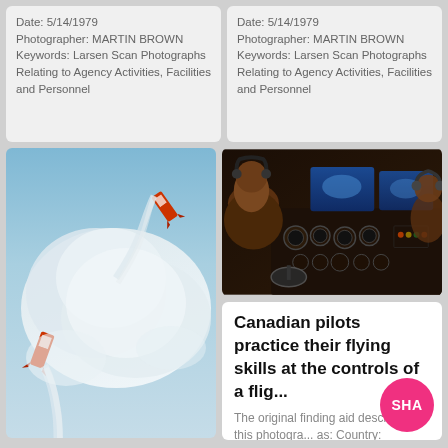Date: 5/14/1979 Photographer: MARTIN BROWN Keywords: Larsen Scan Photographs Relating to Agency Activities, Facilities and Personnel
Date: 5/14/1979 Photographer: MARTIN BROWN Keywords: Larsen Scan Photographs Relating to Agency Activities, Facilities and Personnel
[Figure (photo): Aerial photo showing rocket or projectile with smoke trail against cloudy sky]
[Figure (photo): Interior cockpit of aircraft with two pilots at flight controls, lit instrument panels and blue screens visible]
Canadian pilots practice their flying skills at the controls of a flig...
The original finding aid described this photogra... as: Country: Deutschland / ...